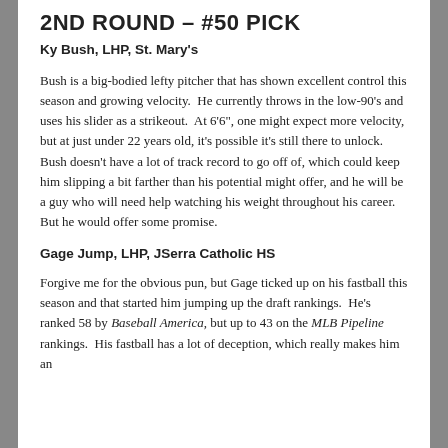2ND ROUND – #50 PICK
Ky Bush, LHP, St. Mary's
Bush is a big-bodied lefty pitcher that has shown excellent control this season and growing velocity.  He currently throws in the low-90's and uses his slider as a strikeout.  At 6'6", one might expect more velocity, but at just under 22 years old, it's possible it's still there to unlock.  Bush doesn't have a lot of track record to go off of, which could keep him slipping a bit farther than his potential might offer, and he will be a guy who will need help watching his weight throughout his career.  But he would offer some promise.
Gage Jump, LHP, JSerra Catholic HS
Forgive me for the obvious pun, but Gage ticked up on his fastball this season and that started him jumping up the draft rankings.  He's ranked 58 by Baseball America, but up to 43 on the MLB Pipeline rankings.  His fastball has a lot of deception, which really makes him an